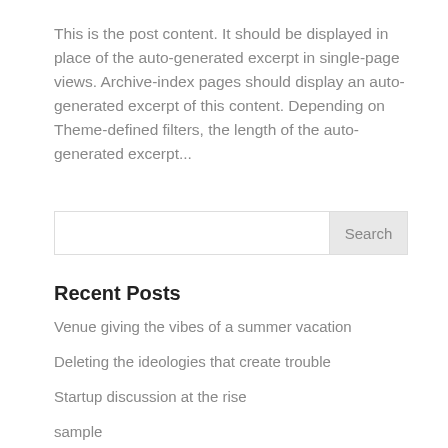This is the post content. It should be displayed in place of the auto-generated excerpt in single-page views. Archive-index pages should display an auto-generated excerpt of this content. Depending on Theme-defined filters, the length of the auto-generated excerpt...
Search
Recent Posts
Venue giving the vibes of a summer vacation
Deleting the ideologies that create trouble
Startup discussion at the rise
sample
Scheduled